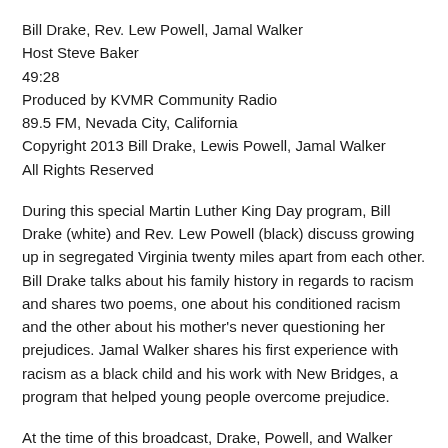Bill Drake, Rev. Lew Powell, Jamal Walker
Host Steve Baker
49:28
Produced by KVMR Community Radio
89.5 FM, Nevada City, California
Copyright 2013 Bill Drake, Lewis Powell, Jamal Walker
All Rights Reserved
During this special Martin Luther King Day program, Bill Drake (white) and Rev. Lew Powell (black) discuss growing up in segregated Virginia twenty miles apart from each other. Bill Drake talks about his family history in regards to racism and shares two poems, one about his conditioned racism and the other about his mother's never questioning her prejudices. Jamal Walker shares his first experience with racism as a black child and his work with New Bridges, a program that helped young people overcome prejudice.
At the time of this broadcast, Drake, Powell, and Walker were laying the foundation for an organization in Nevada City, California to help others unlearn prejudice. Drake, Walker, and Cindy Santa Cruz-Reed